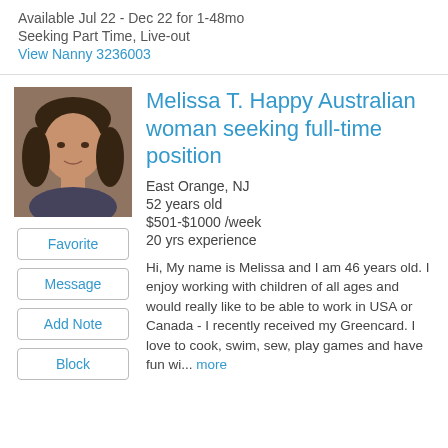Available Jul 22 - Dec 22 for 1-48mo
Seeking Part Time, Live-out
View Nanny 3236003
[Figure (photo): Profile photo of Melissa T., a middle-aged woman with dark hair]
Melissa T. Happy Australian woman seeking full-time position
East Orange, NJ
52 years old
$501-$1000 /week
20 yrs experience
Hi, My name is Melissa and I am 46 years old. I enjoy working with children of all ages and would really like to be able to work in USA or Canada - I recently received my Greencard. I love to cook, swim, sew, play games and have fun wi... more